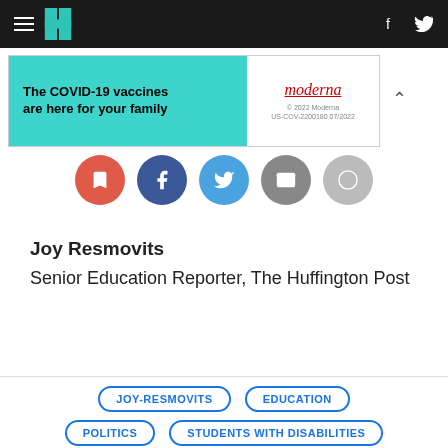HuffPost navigation bar with hamburger menu, logo, Facebook and Twitter icons
[Figure (screenshot): Moderna COVID-19 vaccine advertisement banner: 'The COVID-19 vaccines are here for your family' on teal background with Moderna logo on white background]
[Figure (infographic): Row of five circular social sharing buttons: bookmark (red), Facebook (dark blue), Twitter (light blue), email (gray), link/copy (light gray)]
Joy Resmovits
Senior Education Reporter, The Huffington Post
Suggest a correction
JOY-RESMOVITS
EDUCATION
POLITICS
STUDENTS WITH DISABILITIES